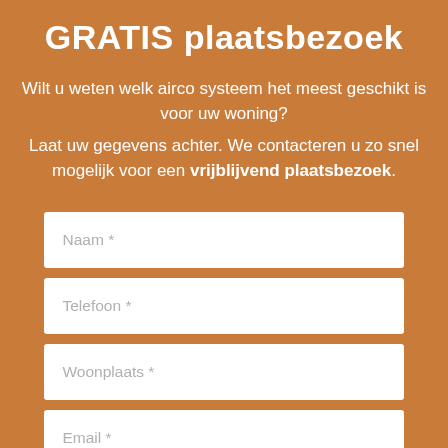GRATIS plaatsbezoek
Wilt u weten welk airco systeem het meest geschikt is voor uw woning?
Laat uw gegevens achter. We contacteren u zo snel mogelijk voor een vrijblijvend plaatsbezoek.
[Figure (other): Web form with four input fields: Naam *, Telefoon *, Woonplaats *, Email *]